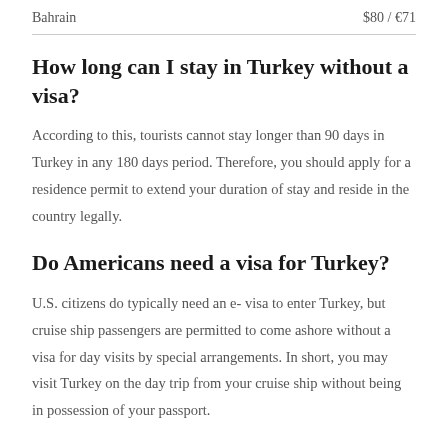| Country | Price |
| --- | --- |
| Bahrain | $80 / €71 |
How long can I stay in Turkey without a visa?
According to this, tourists cannot stay longer than 90 days in Turkey in any 180 days period. Therefore, you should apply for a residence permit to extend your duration of stay and reside in the country legally.
Do Americans need a visa for Turkey?
U.S. citizens do typically need an e- visa to enter Turkey, but cruise ship passengers are permitted to come ashore without a visa for day visits by special arrangements. In short, you may visit Turkey on the day trip from your cruise ship without being in possession of your passport.